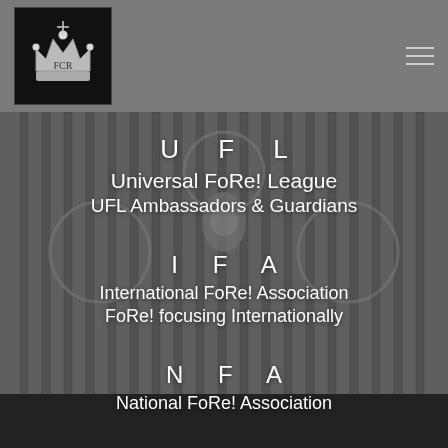[Figure (logo): Ornate crown/crest logo in black and white on dark background]
U F L
Universal FoRe! League
UFL Ambassadors & Guardians
I F A
International FoRe! Association
FoRe! focusing Internationally
N F A
National FoRe! Association